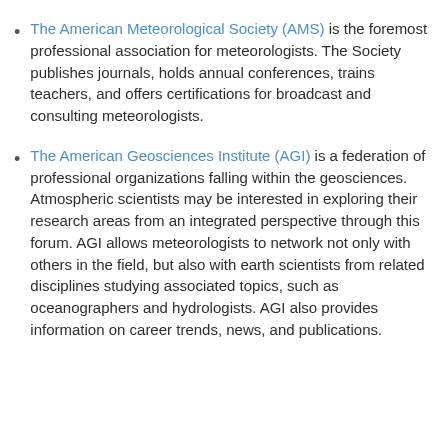The American Meteorological Society (AMS) is the foremost professional association for meteorologists. The Society publishes journals, holds annual conferences, trains teachers, and offers certifications for broadcast and consulting meteorologists.
The American Geosciences Institute (AGI) is a federation of professional organizations falling within the geosciences. Atmospheric scientists may be interested in exploring their research areas from an integrated perspective through this forum. AGI allows meteorologists to network not only with others in the field, but also with earth scientists from related disciplines studying associated topics, such as oceanographers and hydrologists. AGI also provides information on career trends, news, and publications.